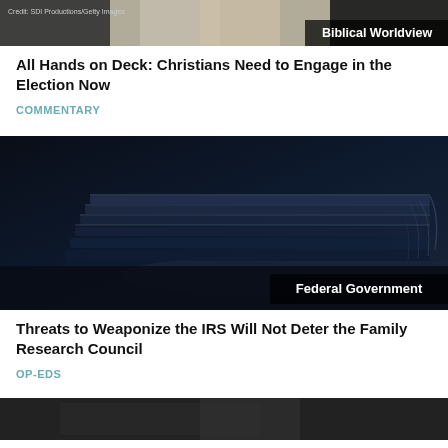[Figure (photo): Partial image at top with credit text and Biblical Worldview badge]
All Hands on Deck: Christians Need to Engage in the Election Now
COMMENTARY
[Figure (photo): Dark photo of stacked folded newspapers with Federal Government badge]
Threats to Weaponize the IRS Will Not Deter the Family Research Council
OP-EDS
[Figure (photo): Partial dark image at bottom of page]